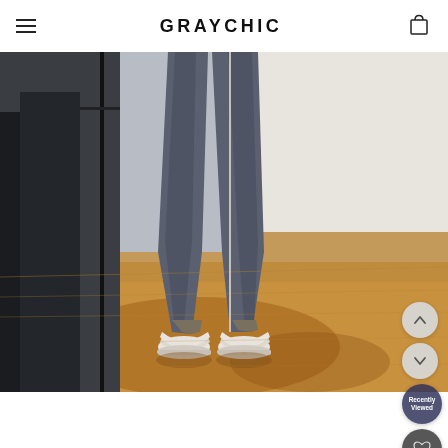GRAYCHIC
[Figure (photo): Fashion e-commerce product photo showing lower legs of a person wearing dark gray/blue slim-fit jeans and white loafer shoes, standing on a warm-toned wooden floor inside a clothing store. A dark metal rack with hanging garments is visible on the left, and a white wall is on the right. Sunlight creates warm shadows on the floor.]
Recently Viewed
[Figure (infographic): UI overlay buttons on right side: up chevron button (light gray circle), down chevron button (light gray circle), Recently Viewed button (dark navy circle), and heart/wishlist button (dark gray circle with heart icon)]